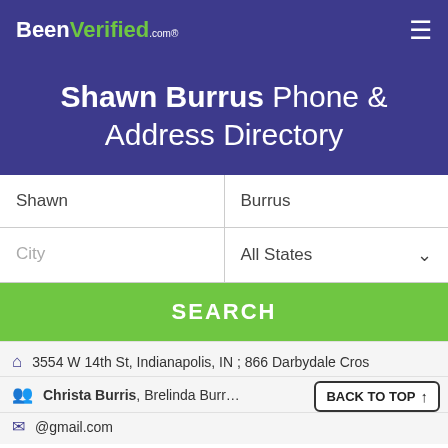BeenVerified.com
Shawn Burrus Phone & Address Directory
Shawn | Burrus | City | All States
SEARCH
3554 W 14th St, Indianapolis, IN ; 866 Darbydale Cross
Christa Burris, Brelinda Burrus, B... | BACK TO TOP ↑
@gmail.com